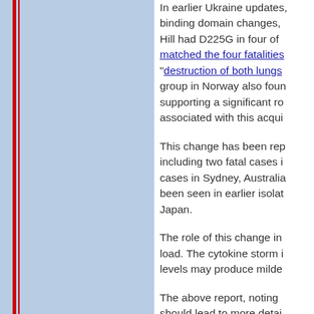In earlier Ukraine updates, binding domain changes, Hill had D225G in four of matched the four fatalities "destruction of both lungs group in Norway also found supporting a significant role associated with this acqui...
This change has been reported including two fatal cases in cases in Sydney, Australia been seen in earlier isolates Japan.
The role of this change in load. The cytokine storm levels may produce milder...
The above report, noting should lead to more detail which may contain an inc domain change identified
Media Links